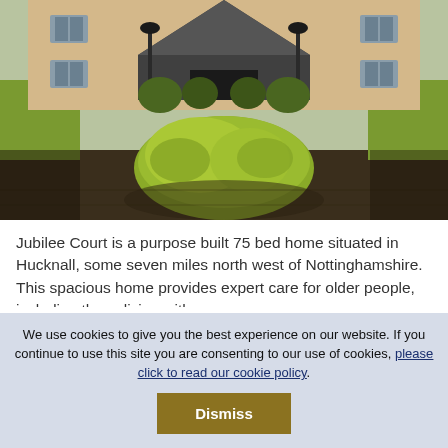[Figure (photo): Exterior photo of Jubilee Court care home: a brick building with a distinctive pointed roof/hexagonal entrance canopy, lamp posts, trees and ornamental shrubs along the front, and a large rounded topiary hedge in the foreground courtyard.]
Jubilee Court is a purpose built 75 bed home situated in Hucknall, some seven miles north west of Nottinghamshire. This spacious home provides expert care for older people, including those living with
We use cookies to give you the best experience on our website. If you continue to use this site you are consenting to our use of cookies, please click to read our cookie policy.